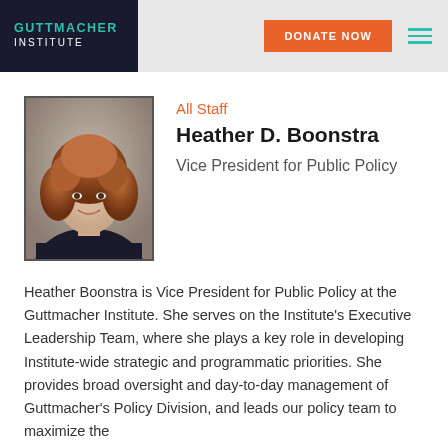GUTTMACHER INSTITUTE | DONATE NOW
[Figure (photo): Professional headshot of Heather D. Boonstra, a woman with curly reddish-brown hair, wearing a black top, smiling against a neutral background]
All Staff
Heather D. Boonstra
Vice President for Public Policy
Heather Boonstra is Vice President for Public Policy at the Guttmacher Institute. She serves on the Institute’s Executive Leadership Team, where she plays a key role in developing Institute-wide strategic and programmatic priorities. She provides broad oversight and day-to-day management of Guttmacher’s Policy Division, and leads our policy team to maximize the